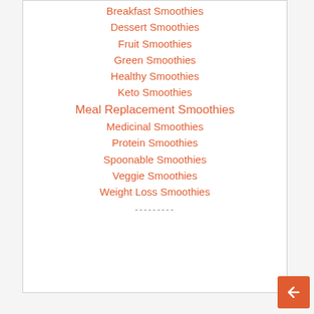Breakfast Smoothies
Dessert Smoothies
Fruit Smoothies
Green Smoothies
Healthy Smoothies
Keto Smoothies
Meal Replacement Smoothies
Medicinal Smoothies
Protein Smoothies
Spoonable Smoothies
Veggie Smoothies
Weight Loss Smoothies
---------